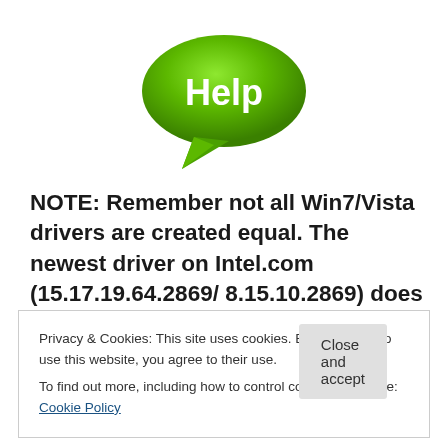[Figure (logo): Green speech bubble icon with white bold text 'Help' inside]
NOTE: Remember not all Win7/Vista drivers are created equal. The newest driver on Intel.com (15.17.19.64.2869/ 8.15.10.2869) does not contain a igdlh64.inf file so see the note below. Mark and
Privacy & Cookies: This site uses cookies. By continuing to use this website, you agree to their use.
To find out more, including how to control cookies, see here: Cookie Policy
Close and accept